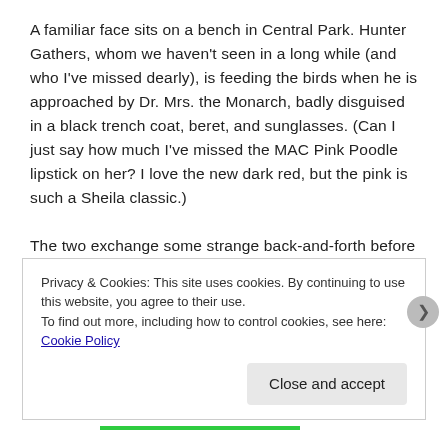A familiar face sits on a bench in Central Park. Hunter Gathers, whom we haven't seen in a long while (and who I've missed dearly), is feeding the birds when he is approached by Dr. Mrs. the Monarch, badly disguised in a black trench coat, beret, and sunglasses. (Can I just say how much I've missed the MAC Pink Poodle lipstick on her? I love the new dark red, but the pink is such a Sheila classic.)

The two exchange some strange back-and-forth before getting confused and giving up on the code phrases they previously emailed about. Dr. Mrs. asks him if he is willing to agree to their deal, and Hunter agrees that the OSI will help the Guild with their sting as long as their help stays off-the-record.
Privacy & Cookies: This site uses cookies. By continuing to use this website, you agree to their use.
To find out more, including how to control cookies, see here: Cookie Policy